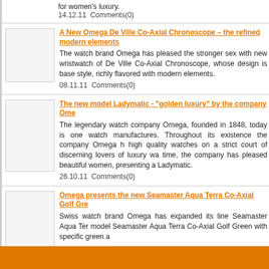for women's luxury.
14.12.11  Comments(0)
A New Omega De Ville Co-Axial Chronoscope – the refined modern elements
The watch brand Omega has pleased the stronger sex with new wristwatch of De Ville Co-Axial Chronoscope, whose design is based style, richly flavored with modern elements.
08.11.11  Comments(0)
The new model Ladymatic - "golden luxury" by the company Ome
The legendary watch company Omega, founded in 1848, today is one watch manufactures. Throughout its existence the company Omega h high quality watches on a strict court of discerning lovers of luxury wa time, the company has pleased beautiful women, presenting a Ladymatic.
26.10.11  Comments(0)
Omega presents the new Seamaster Aqua Terra Co-Axial Golf Gre
Swiss watch brand Omega has expanded its line Seamaster Aqua Ter model Seamaster Aqua Terra Co-Axial Golf Green with specific green a
20.10.11  Comments(0)
New Chronograph Omega Speedmaster
The watch company Omega has expanded its collection Speedmaste is a chronograph with the coaxial escapement. The novelty looks ve watch is made mostly in elegant black.
03.10.11  Comments(0)